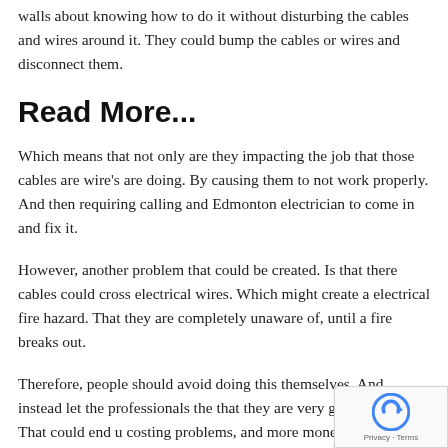walls about knowing how to do it without disturbing the cables and wires around it. They could bump the cables or wires and disconnect them.
Read More...
Which means that not only are they impacting the job that those cables are wire's are doing. By causing them to not work properly. And then requiring calling and Edmonton electrician to come in and fix it.
However, another problem that could be created. Is that there cables could cross electrical wires. Which might create a electrical fire hazard. That they are completely unaware of, until a fire breaks out.
Therefore, people should avoid doing this themselves. And instead let the professionals the that they are very good at doing. That could end u costing problems, and more money.